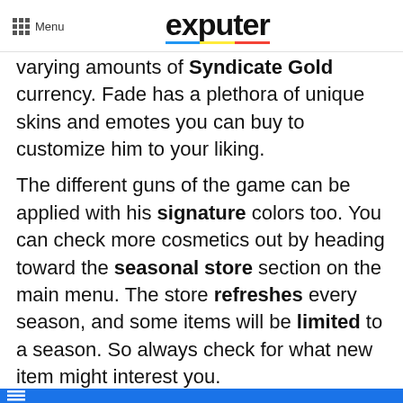Menu | exputer
varying amounts of Syndicate Gold currency. Fade has a plethora of unique skins and emotes you can buy to customize him to your liking.
The different guns of the game can be applied with his signature colors too. You can check more cosmetics out by heading toward the seasonal store section on the main menu. The store refreshes every season, and some items will be limited to a season. So always check for what new item might interest you.